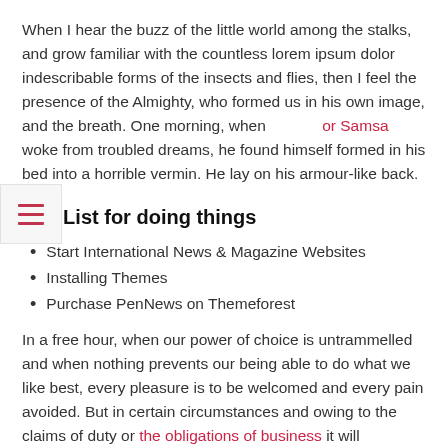When I hear the buzz of the little world among the stalks, and grow familiar with the countless lorem ipsum dolor indescribable forms of the insects and flies, then I feel the presence of the Almighty, who formed us in his own image, and the breath. One morning, when or Samsa woke from troubled dreams, he found himself formed in his bed into a horrible vermin. He lay on his armour-like back.
The List for doing things
Start International News & Magazine Websites
Installing Themes
Purchase PenNews on Themeforest
In a free hour, when our power of choice is untrammelled and when nothing prevents our being able to do what we like best, every pleasure is to be welcomed and every pain avoided. But in certain circumstances and owing to the claims of duty or the obligations of business it will frequently occur that pleasures have to be repudiated